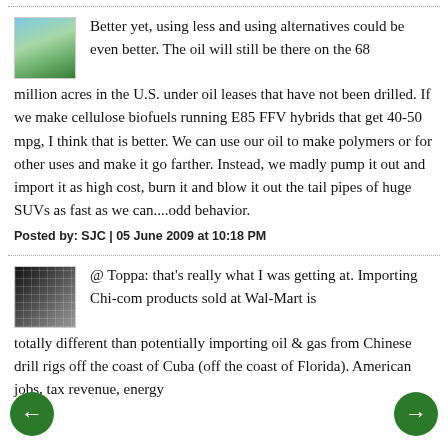Better yet, using less and using alternatives could be even better. The oil will still be there on the 68 million acres in the U.S. under oil leases that have not been drilled. If we make cellulose biofuels running E85 FFV hybrids that get 40-50 mpg, I think that is better. We can use our oil to make polymers or for other uses and make it go farther. Instead, we madly pump it out and import it as high cost, burn it and blow it out the tail pipes of huge SUVs as fast as we can....odd behavior.
Posted by: SJC | 05 June 2009 at 10:18 PM
@ Toppa: that's really what I was getting at. Importing Chi-com products sold at Wal-Mart is totally different than potentially importing oil & gas from Chinese drill rigs off the coast of Cuba (off the coast of Florida). American jobs, tax revenue, energy